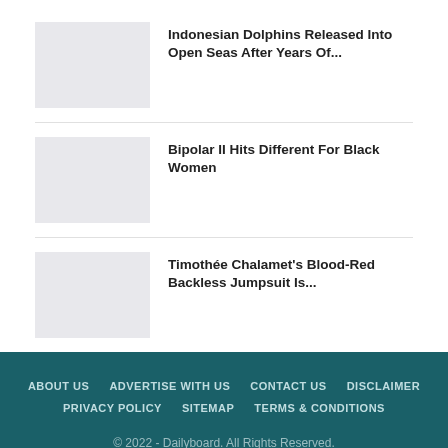[Figure (photo): Thumbnail placeholder for Indonesian Dolphins article]
Indonesian Dolphins Released Into Open Seas After Years Of...
[Figure (photo): Thumbnail placeholder for Bipolar II article]
Bipolar II Hits Different For Black Women
[Figure (photo): Thumbnail placeholder for Timothée Chalamet article]
Timothée Chalamet's Blood-Red Backless Jumpsuit Is...
ABOUT US   ADVERTISE WITH US   CONTACT US   DISCLAIMER   PRIVACY POLICY   SITEMAP   TERMS & CONDITIONS   © 2022 - Dailyboard. All Rights Reserved.